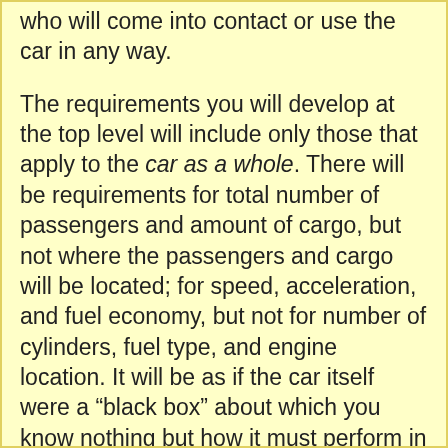who will come into contact or use the car in any way.
The requirements you will develop at the top level will include only those that apply to the car as a whole. There will be requirements for total number of passengers and amount of cargo, but not where the passengers and cargo will be located; for speed, acceleration, and fuel economy, but not for number of cylinders, fuel type, and engine location. It will be as if the car itself were a “black box” about which you know nothing but how it must perform in a larger system (its situation).
Top level system design will result only